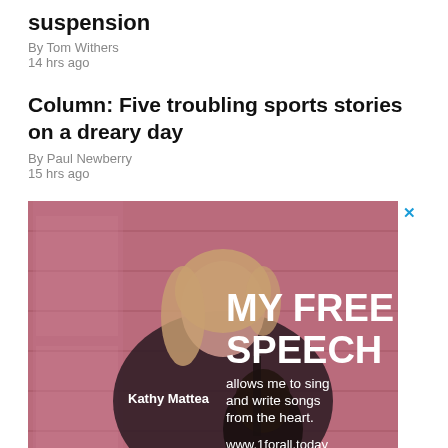suspension
By Tom Withers
14 hrs ago
Column: Five troubling sports stories on a dreary day
By Paul Newberry
15 hrs ago
[Figure (photo): Advertisement featuring Kathy Mattea with guitar against a pink-tinted wooden background. Text reads: MY FREE SPEECH allows me to sing and write songs from the heart. www.1forall.today]